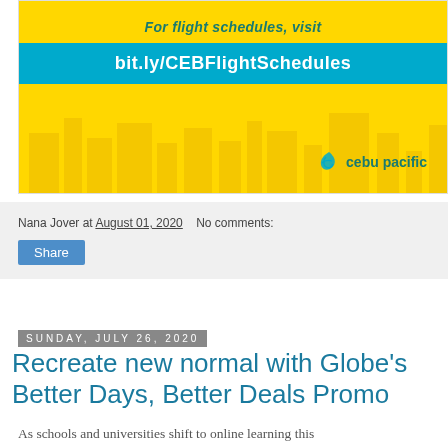[Figure (advertisement): Cebu Pacific advertisement banner with yellow background showing cityscape silhouette and blue bar reading 'bit.ly/CEBFlightSchedules'. Top text says 'For flight schedules, visit'. Cebu Pacific logo at bottom right.]
Nana Jover at August 01, 2020   No comments:
Share
Sunday, July 26, 2020
Recreate new normal with Globe's Better Days, Better Deals Promo
As schools and universities shift to online learning this